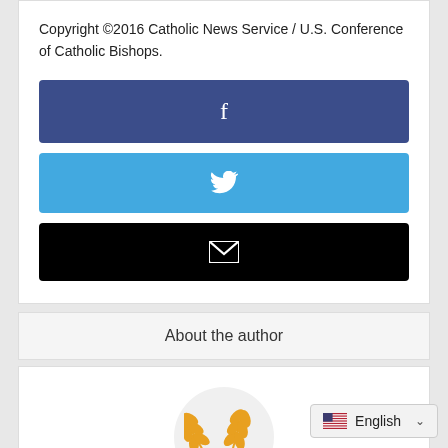Copyright ©2016 Catholic News Service / U.S. Conference of Catholic Bishops.
[Figure (other): Facebook share button (dark blue rounded rectangle with white 'f' icon)]
[Figure (other): Twitter share button (light blue rounded rectangle with white bird icon)]
[Figure (other): Email share button (black rounded rectangle with white envelope icon)]
About the author
[Figure (logo): Circular author avatar with CNS wheat/grain logo in gold/orange color, partially visible text 'CNS' below]
English (language selector widget with US flag and dropdown chevron)